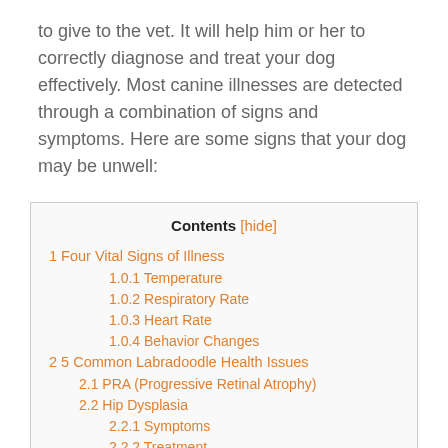to give to the vet. It will help him or her to correctly diagnose and treat your dog effectively. Most canine illnesses are detected through a combination of signs and symptoms. Here are some signs that your dog may be unwell:
| Contents [hide] |
| --- |
| 1 Four Vital Signs of Illness |
| 1.0.1 Temperature |
| 1.0.2 Respiratory Rate |
| 1.0.3 Heart Rate |
| 1.0.4 Behavior Changes |
| 2 5 Common Labradoodle Health Issues |
| 2.1 PRA (Progressive Retinal Atrophy) |
| 2.2 Hip Dysplasia |
| 2.2.1 Symptoms |
| 2.2.2 Treatment |